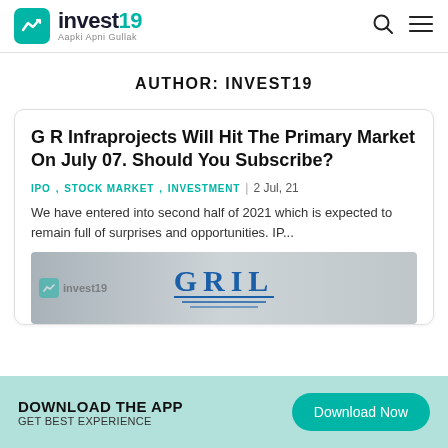invest19 — Aapki Apni Gullak
AUTHOR: INVEST19
G R Infraprojects Will Hit The Primary Market On July 07. Should You Subscribe?
IPO, STOCK MARKET, INVESTMENT | 2 Jul, 21
We have entered into second half of 2021 which is expected to remain full of surprises and opportunities. IP...
[Figure (logo): GRIL logo on a grey gradient background with invest19 watermark]
DOWNLOAD THE APP — GET BEST EXPERIENCE — Download Now